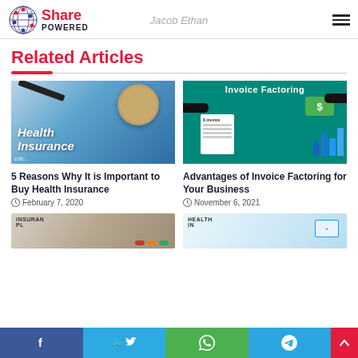Share Powered | Jacob Ethan
Related Articles
[Figure (photo): Health Insurance card with stethoscope and pen]
5 Reasons Why It is Important to Buy Health Insurance
February 7, 2020
[Figure (illustration): Invoice Factoring graphic with hands exchanging money and invoice, bar chart in background]
Advantages of Invoice Factoring for Your Business
November 6, 2021
[Figure (photo): Partial view of insurance plan document (bottom row left)]
[Figure (photo): Partial view of health card (bottom row right)]
Social share bar: Facebook, Twitter, WhatsApp, Telegram